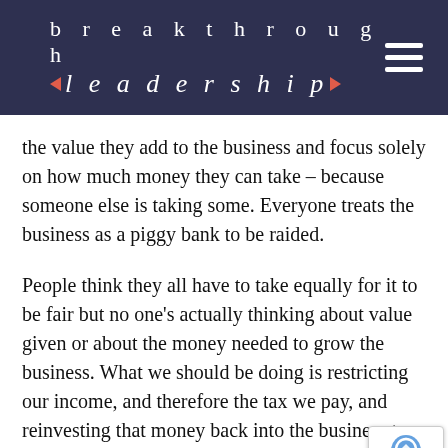breakthrough leadership
the value they add to the business and focus solely on how much money they can take – because someone else is taking some. Everyone treats the business as a piggy bank to be raided.
People think they all have to take equally for it to be fair but no one's actually thinking about value given or about the money needed to grow the business. What we should be doing is restricting our income, and therefore the tax we pay, and reinvesting that money back into the business to grow the business for future gain.